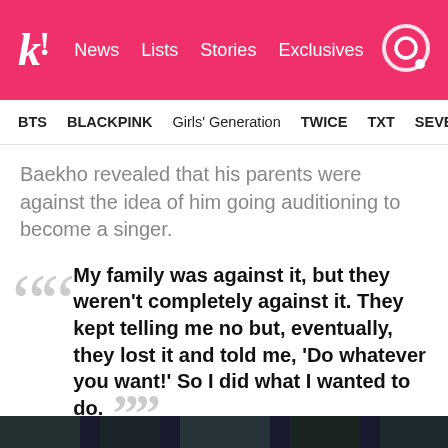k! News Lists Stories Exclusives
BTS BLACKPINK Girls' Generation TWICE TXT SEVE
Baekho revealed that his parents were against the idea of him going auditioning to become a singer.
My family was against it, but they weren't completely against it. They kept telling me no but, eventually, they lost it and told me, 'Do whatever you want!' So I did what I wanted to do.
— Baekho